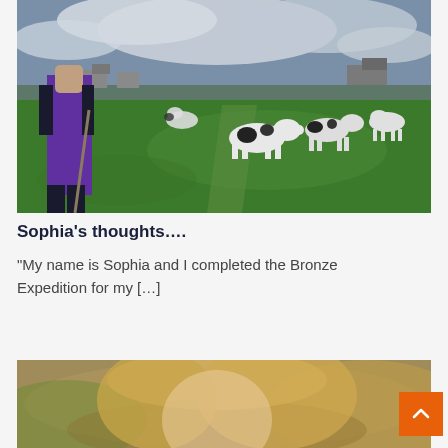[Figure (photo): Person with hiking pole standing in a green field with black and white cows. Cloudy sky in background with farmhouses visible in distance.]
Sophia's thoughts….
“My name is Sophia and I completed the Bronze Expedition for my […]
[Figure (photo): Close-up of a young woman with blonde hair, blurred outdoor background.]